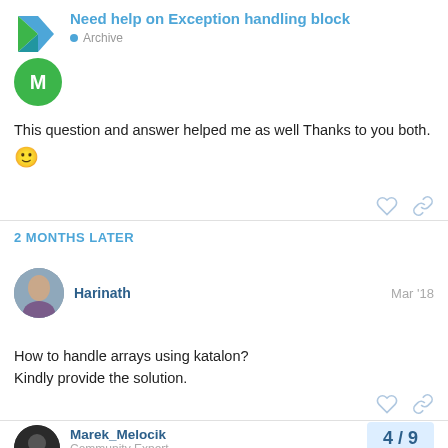Need help on Exception handling block • Archive
This question and answer helped me as well Thanks to you both. 🙂
2 MONTHS LATER
Harinath  Mar '18
How to handle arrays using katalon?
Kindly provide the solution.
Marek_Melocik  Community Expert
4 / 9